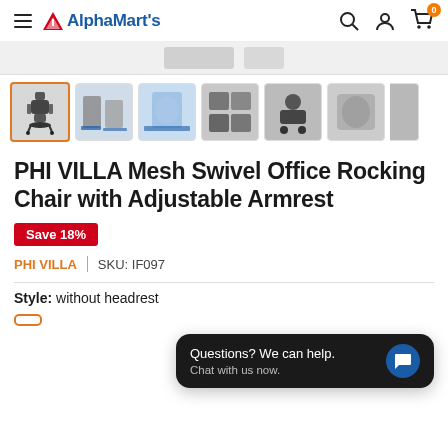AlphaMart's
[Figure (photo): Product thumbnail gallery showing a mesh swivel office rocking chair from multiple angles and configurations. First thumbnail is selected (orange border). Six thumbnails visible plus partial seventh.]
PHI VILLA Mesh Swivel Office Rocking Chair with Adjustable Armrest
Save 18%
PHI VILLA | SKU: IF097
Style:  without headrest
[Figure (screenshot): Chat support overlay popup: 'Questions? We can help. Chat with us now.' with blue chat bubble icon on dark background.]